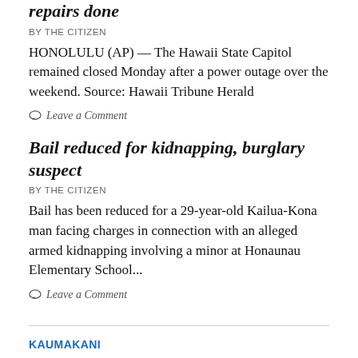repairs done
BY THE CITIZEN
HONOLULU (AP) — The Hawaii State Capitol remained closed Monday after a power outage over the weekend. Source: Hawaii Tribune Herald
Leave a Comment
Bail reduced for kidnapping, burglary suspect
BY THE CITIZEN
Bail has been reduced for a 29-year-old Kailua-Kona man facing charges in connection with an alleged armed kidnapping involving a minor at Honaunau Elementary School...
Leave a Comment
KAUMAKANI